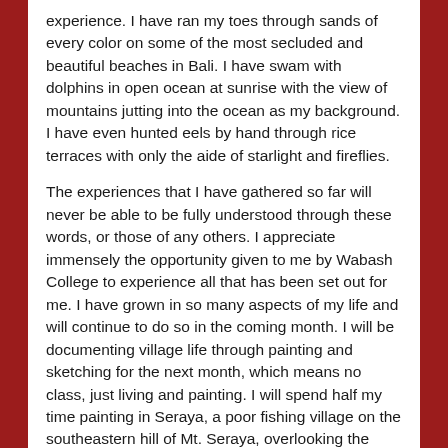experience. I have ran my toes through sands of every color on some of the most secluded and beautiful beaches in Bali. I have swam with dolphins in open ocean at sunrise with the view of mountains jutting into the ocean as my background. I have even hunted eels by hand through rice terraces with only the aide of starlight and fireflies.
The experiences that I have gathered so far will never be able to be fully understood through these words, or those of any others. I appreciate immensely the opportunity given to me by Wabash College to experience all that has been set out for me. I have grown in so many aspects of my life and will continue to do so in the coming month. I will be documenting village life through painting and sketching for the next month, which means no class, just living and painting. I will spend half my time painting in Seraya, a poor fishing village on the southeastern hill of Mt. Seraya, overlooking the pristine coast.
After my time is exhausted there, I will continue painting in Sukawana, a small village in the mountains near Batur. Although internet access will be hard to